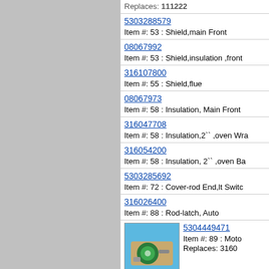5303288579 | Item #: 53 : Shield,main Front
08067992 | Item #: 53 : Shield,insulation ,front
316107800 | Item #: 55 : Shield,flue
08067973 | Item #: 58 : Insulation, Main Front
316047708 | Item #: 58 : Insulation,2`` ,oven Wr
316054200 | Item #: 58 : Insulation, 2`` ,oven Ba
5303285692 | Item #: 72 : Cover-rod End,lt Switc
316026400 | Item #: 88 : Rod-latch, Auto
[Figure (photo): Motor part photo - green component on beige/tan base]
5304449471 | Item #: 89 : Moto | Replaces: 3160
316112500